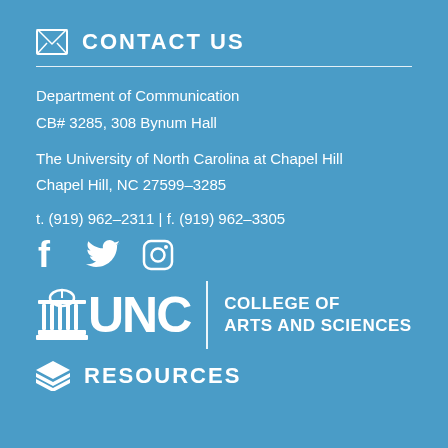CONTACT US
Department of Communication
CB# 3285, 308 Bynum Hall
The University of North Carolina at Chapel Hill
Chapel Hill, NC 27599-3285
t. (919) 962-2311 | f. (919) 962-3305
[Figure (logo): Social media icons: Facebook, Twitter, Instagram]
[Figure (logo): UNC College of Arts and Sciences logo with building icon, UNC wordmark, vertical divider, and text COLLEGE OF ARTS AND SCIENCES]
RESOURCES